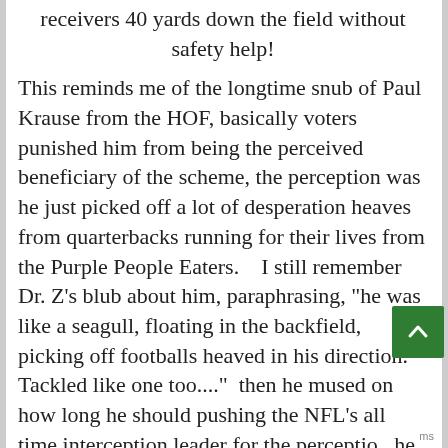receivers 40 yards down the field without safety help!
This reminds me of the longtime snub of Paul Krause from the HOF, basically voters punished him from being the perceived beneficiary of the scheme, the perception was he just picked off a lot of desperation heaves from quarterbacks running for their lives from the Purple People Eaters.    I still remember Dr. Z's blub about him, paraphrasing, "he was like a seagull, floating in the backfield, picking off footballs heaved in his direction.  Tackled like one too...."  then he mused on how long he should pushing the NFL's all time interception leader for the perception he didn't have to tackle much to accumulate picks.   At some point he decided he it was long enough and finally voted for him, but it took 14 years after being eligible (retired in 79, inducted